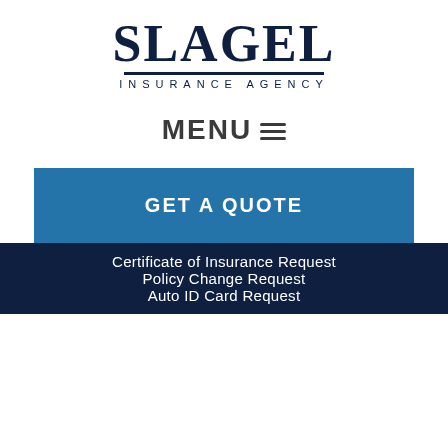[Figure (logo): Slagel Insurance Agency logo with large serif SLAGEL text, horizontal rule, and spaced INSURANCE AGENCY subtitle]
MENU ≡
GET A QUOTE
Certificate of Insurance Request
Policy Change Request
Auto ID Card Request